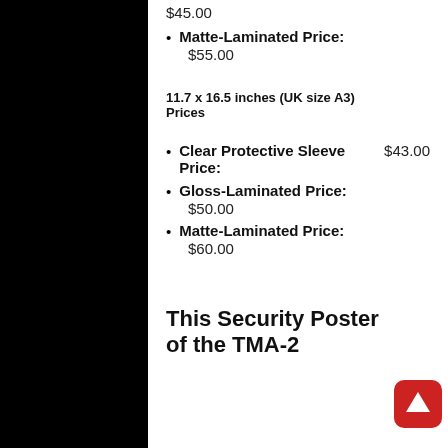$45.00
Matte-Laminated Price: $55.00
11.7 x 16.5 inches (UK size A3) Prices
Clear Protective Sleeve Price: $43.00
Gloss-Laminated Price: $50.00
Matte-Laminated Price: $60.00
This Security Poster of the TMA-2